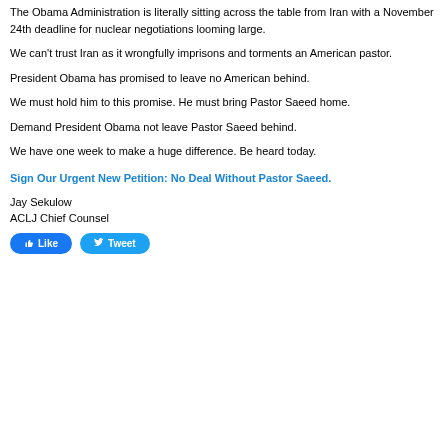The Obama Administration is literally sitting across the table from Iran with a November 24th deadline for nuclear negotiations looming large.
We can't trust Iran as it wrongfully imprisons and torments an American pastor.
President Obama has promised to leave no American behind.
We must hold him to this promise. He must bring Pastor Saeed home.
Demand President Obama not leave Pastor Saeed behind.
We have one week to make a huge difference. Be heard today.
Sign Our Urgent New Petition: No Deal Without Pastor Saeed.
Jay Sekulow
ACLJ Chief Counsel